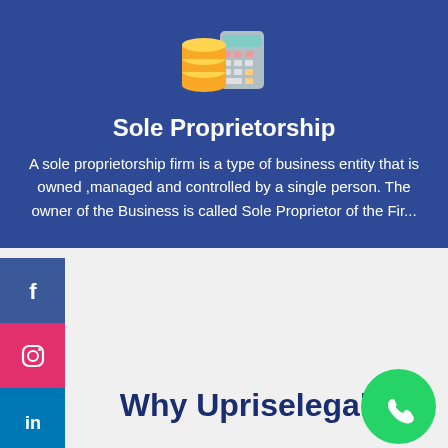[Figure (illustration): Coins and calculator emoji icon]
Sole Proprietorship
A sole proprietorship firm is a type of business entity that is owned ,managed and controlled by a single person. The owner of the Business is called Sole Proprietor of the Fir...
[Figure (infographic): Social media sidebar with Facebook, Instagram, and LinkedIn buttons]
Why Upriselegal?
[Figure (logo): WhatsApp green circle icon]